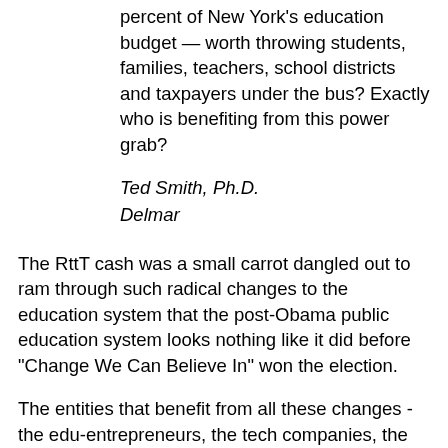percent of New York's education budget — worth throwing students, families, teachers, school districts and taxpayers under the bus? Exactly who is benefiting from this power grab?
Ted Smith, Ph.D.
Delmar
The RttT cash was a small carrot dangled out to ram through such radical changes to the education system that the post-Obama public education system looks nothing like it did before "Change We Can Believe In" won the election.
The entities that benefit from all these changes - the edu-entrepreneurs, the tech companies, the testing regime, "non-profits" who front for corporate education reform, and the charter school industry - are eating away much more than the $700 million NY "won" for RttT.
The lie that the RttT changes needed to be made so the money could be used "for the kids" was egregious even